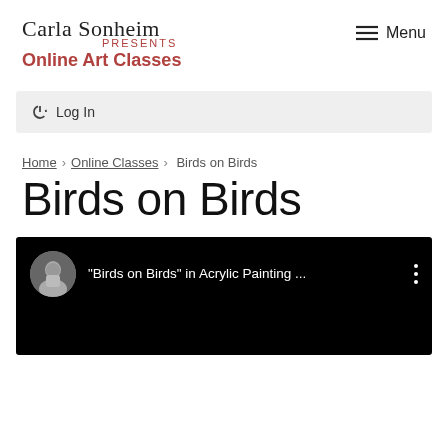Carla Sonheim PRESENTS Online Art Classes
Menu
Log In
Home › Online Classes › Birds on Birds
Birds on Birds
[Figure (screenshot): YouTube-style video thumbnail showing a circular avatar of a person and the text '"Birds on Birds" in Acrylic Painting ...' on a black background with a three-dot menu icon]